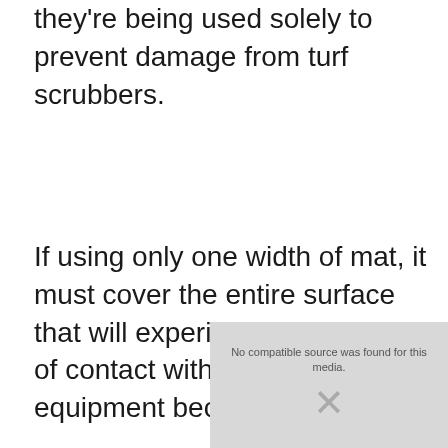they're being used solely to prevent damage from turf scrubbers.
If using only one width of mat, it must cover the entire surface that will experience some form of contact with heavy equipment because it's
[Figure (other): Video player placeholder showing 'No compatible source was found for this media' message with a grey background and X icon]